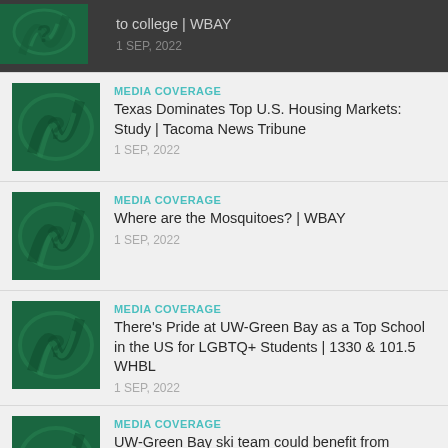to college | WBAY
1 SEP, 2022
MEDIA COVERAGE
Texas Dominates Top U.S. Housing Markets: Study | Tacoma News Tribune
1 SEP, 2022
MEDIA COVERAGE
Where are the Mosquitoes? | WBAY
1 SEP, 2022
MEDIA COVERAGE
There's Pride at UW-Green Bay as a Top School in the US for LGBTQ+ Students | 1330 & 101.5 WHBL
1 SEP, 2022
MEDIA COVERAGE
UW-Green Bay ski team could benefit from